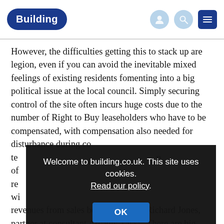Building
However, the difficulties getting this to stack up are legion, even if you can avoid the inevitable mixed feelings of existing residents fomenting into a big political issue at the local council. Simply securing control of the site often incurs huge costs due to the number of Right to Buy leaseholders who have to be compensated, with compensation also needed for disturbance during co... te... of... re... w... revenues from sales begin to roll in. Richard Jones, partner at consultant Arcadis, says: “There are big issues
Welcome to building.co.uk. This site uses cookies. Read our policy.
OK